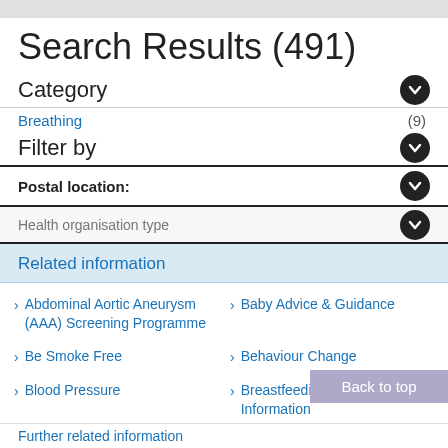Search Results (491)
Category
Breathing (9)
Filter by
Postal location:
Health organisation type
Related information
Abdominal Aortic Aneurysm (AAA) Screening Programme
Baby Advice & Guidance
Be Smoke Free
Behaviour Change
Blood Pressure
Breastfeeding Support & Information
Further related information